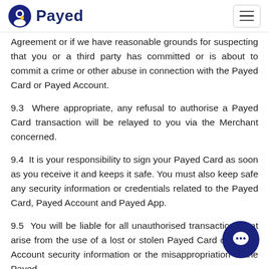Payed
Agreement or if we have reasonable grounds for suspecting that you or a third party has committed or is about to commit a crime or other abuse in connection with the Payed Card or Payed Account.
9.3  Where appropriate, any refusal to authorise a Payed Card transaction will be relayed to you via the Merchant concerned.
9.4  It is your responsibility to sign your Payed Card as soon as you receive it and keeps it safe. You must also keep safe any security information or credentials related to the Payed Card, Payed Account and Payed App.
9.5  You will be liable for all unauthorised transactions that arise from the use of a lost or stolen Payed Card or Payed Account security information or the misappropriation of the Payed